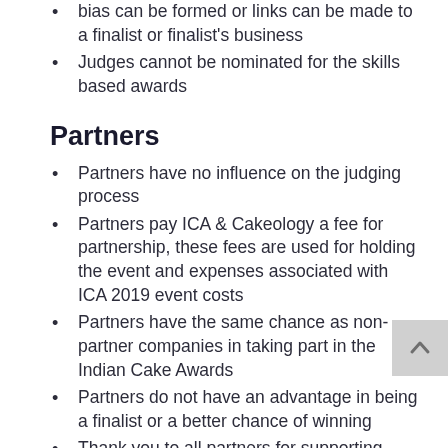bias can be formed or links can be made to a finalist or finalist's business
Judges cannot be nominated for the skills based awards
Partners
Partners have no influence on the judging process
Partners pay ICA & Cakeology a fee for partnership, these fees are used for holding the event and expenses associated with ICA 2019 event costs
Partners have the same chance as non-partner companies in taking part in the Indian Cake Awards
Partners do not have an advantage in being a finalist or a better chance of winning
Thank you to all partners for supporting creators in the industry